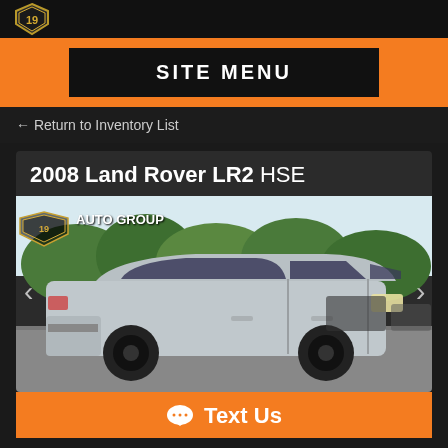[Figure (logo): 19 Auto Group shield logo in top black bar]
SITE MENU
← Return to Inventory List
2008 Land Rover LR2 HSE
[Figure (photo): Silver 2008 Land Rover LR2 HSE SUV with black wheels parked in a lot with trees in background. 19 Auto Group watermark logo in upper left of photo.]
💬 Text Us